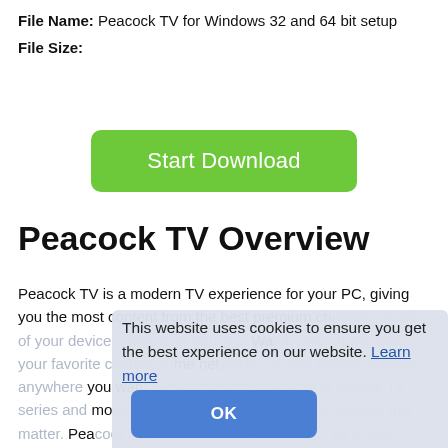File Name: Peacock TV for Windows 32 and 64 bit setup
File Size:
[Figure (other): Green 'Start Download' button]
Peacock TV Overview
Peacock TV is a modern TV experience for your PC, giving you the most content from the best premium channels on all of your devices, wherever you are. Watch new shows from your favorite content networks, on any device, anytime, anywhere you want. Peacock is the only way to stream TV series and movies from creators, networks, and studios that matter. Peacock has options for any taste, with hit shows, blockbuster films, and critically acclaimed indie films.
This website uses cookies to ensure you get the best experience on our website. Learn more
[Figure (other): Blue 'OK' button in cookie consent dialog]